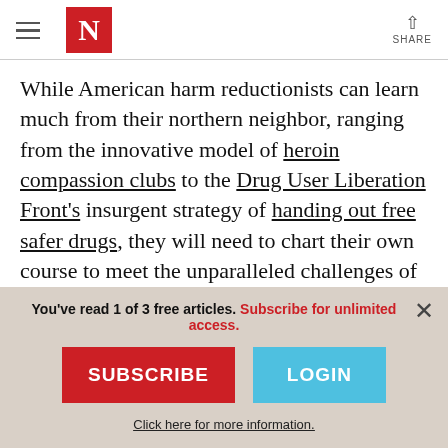The Nation — header with hamburger menu, N logo, and Share button
While American harm reductionists can learn much from their northern neighbor, ranging from the innovative model of heroin compassion clubs to the Drug User Liberation Front's insurgent strategy of handing out free safer drugs, they will need to chart their own course to meet the unparalleled challenges of struggling for drug user liberation from
You've read 1 of 3 free articles. Subscribe for unlimited access.
SUBSCRIBE
LOGIN
Click here for more information.